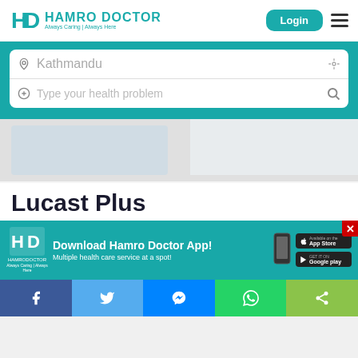[Figure (logo): Hamro Doctor logo with teal HD icon and text 'HAMRO DOCTOR Always Caring | Always Here']
Login
[Figure (other): Hamburger menu icon (three horizontal lines)]
Kathmandu
Type your health problem
[Figure (screenshot): Grey content area with a partially visible card/image]
Lucast Plus
[Figure (infographic): Hamro Doctor App download banner: 'Download Hamro Doctor App! Multiple health care service at a spot!' with App Store and Google Play buttons. Red X close button in top right.]
[Figure (other): Social share bar with Facebook, Twitter, Messenger, WhatsApp, and Share icons]